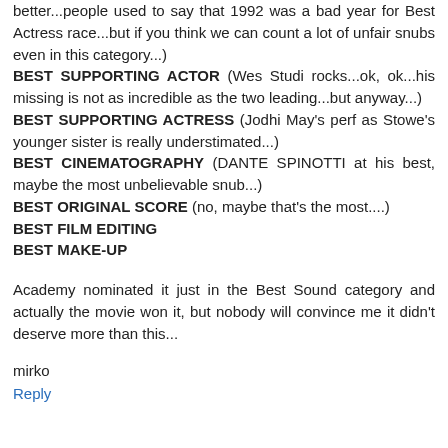better...people used to say that 1992 was a bad year for Best Actress race...but if you think we can count a lot of unfair snubs even in this category...)
BEST SUPPORTING ACTOR (Wes Studi rocks...ok, ok...his missing is not as incredible as the two leading...but anyway...)
BEST SUPPORTING ACTRESS (Jodhi May's perf as Stowe's younger sister is really understimated...)
BEST CINEMATOGRAPHY (DANTE SPINOTTI at his best, maybe the most unbelievable snub...)
BEST ORIGINAL SCORE (no, maybe that's the most....)
BEST FILM EDITING
BEST MAKE-UP
Academy nominated it just in the Best Sound category and actually the movie won it, but nobody will convince me it didn't deserve more than this...
mirko
Reply